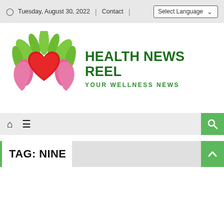Tuesday, August 30, 2022 | Contact | Select Language
[Figure (logo): Health News Reel logo: green leaves and pink hands cradling a red heart, with text HEALTH NEWS REEL and YOUR WELLNESS NEWS]
HEALTH NEWS REEL
YOUR WELLNESS NEWS
TAG: NINE